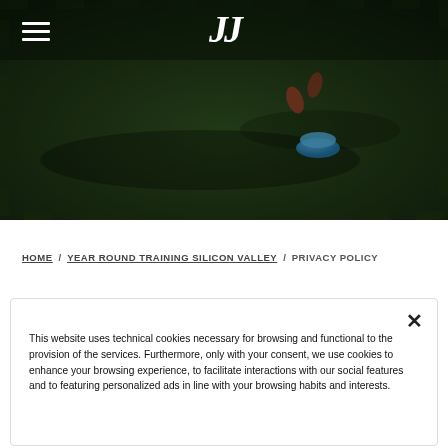[Figure (photo): Dark hero image showing a grass football/soccer training pitch from above with a blue cone marker visible. Navigation bar overlay with hamburger menu and Juventus-style 'JJ' logo on top.]
HOME / YEAR ROUND TRAINING SILICON VALLEY / PRIVACY POLICY
This website uses technical cookies necessary for browsing and functional to the provision of the services. Furthermore, only with your consent, we use cookies to enhance your browsing experience, to facilitate interactions with our social features and to featuring personalized ads in line with your browsing habits and interests.